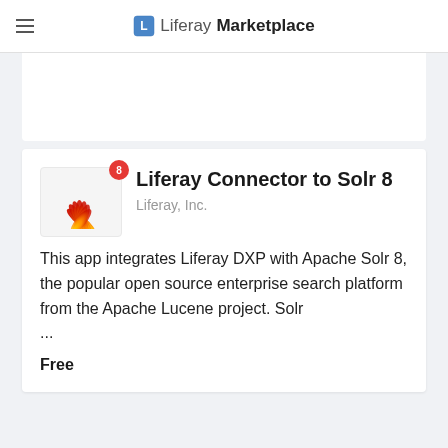Liferay Marketplace
[Figure (logo): Liferay Marketplace logo with icon and text]
Liferay Connector to Solr 8
Liferay, Inc.
This app integrates Liferay DXP with Apache Solr 8, the popular open source enterprise search platform from the Apache Lucene project. Solr ...
Free